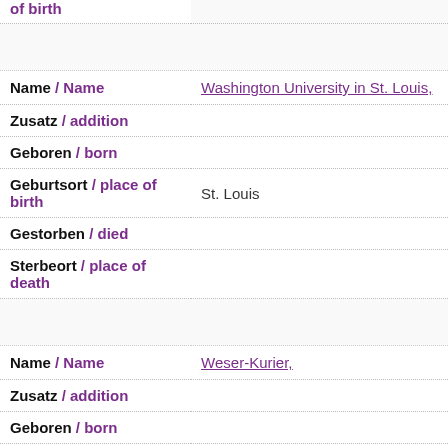| of birth |  |
|  |  |
| Name / Name | Washington University in St. Louis, |
| Zusatz / addition |  |
| Geboren / born |  |
| Geburtsort / place of birth | St. Louis |
| Gestorben / died |  |
| Sterbeort / place of death |  |
|  |  |
| Name / Name | Weser-Kurier, |
| Zusatz / addition |  |
| Geboren / born |  |
| Geburtsort / place of birth | Bremen |